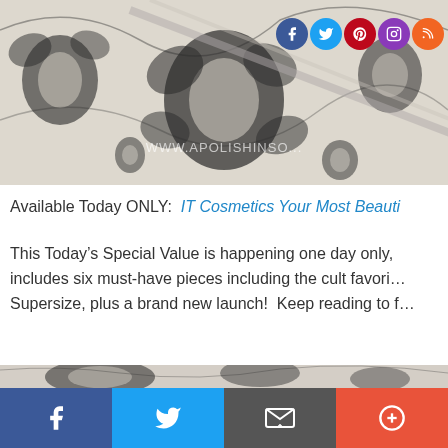[Figure (photo): Top photo of floral patterned fabric/paper with makeup brushes and a mirror, with social media icons (Facebook, Twitter, Pinterest, Instagram, RSS) overlaid in top right, and a watermark reading WWW.APOLISHINSO... across the bottom of the image]
Available Today ONLY:  IT Cosmetics Your Most Beauti...
This Today’s Special Value is happening one day only, includes six must-have pieces including the cult favori... Supersize, plus a brand new launch!  Keep reading to f...
[Figure (photo): Bottom portion of floral patterned fabric/paper similar to the top photo]
[Figure (infographic): Social share bar with four buttons: Facebook (blue), Twitter (light blue), Email (gray), and More/Plus (orange-red)]